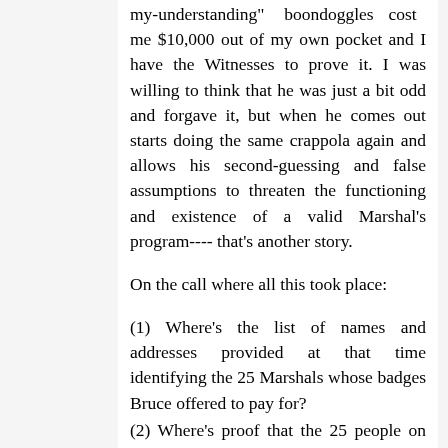my-understanding" boondoggles cost me $10,000 out of my own pocket and I have the Witnesses to prove it. I was willing to think that he was just a bit odd and forgave it, but when he comes out starts doing the same crappola again and allows his second-guessing and false assumptions to threaten the functioning and existence of a valid Marshal's program---- that's another story.
On the call where all this took place:
(1) Where's the list of names and addresses provided at that time identifying the 25 Marshals whose badges Bruce offered to pay for?
(2) Where's proof that the 25 people on that call passed the vetting process and are actually enabled to carry a badge?
(3) Where's the agreement that badges would be provided by any certain date?
(4) Where's the agreement that no part of that money could be spent for any other purpose related to producing and distributing the badges?